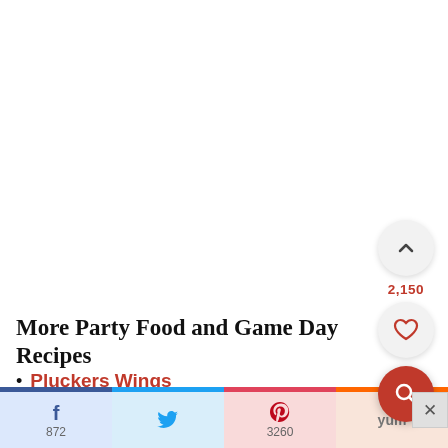More Party Food and Game Day Recipes
Pluckers Wings
Smoky Cheese Dip
872 | 3260 | (social share bar)